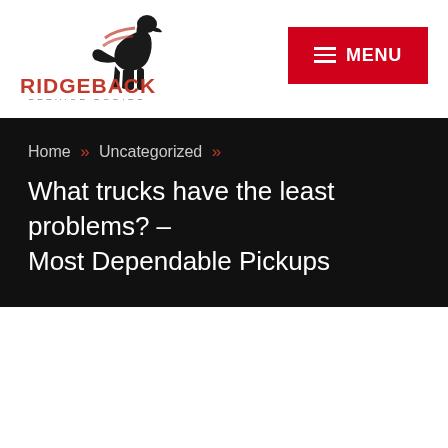[Figure (logo): Ridgeback Service Bodies logo with a Ridgeback dog silhouette and company name]
[Figure (other): Red MENU button with hamburger icon]
Home » Uncategorized »
What trucks have the least problems? – Most Dependable Pickups